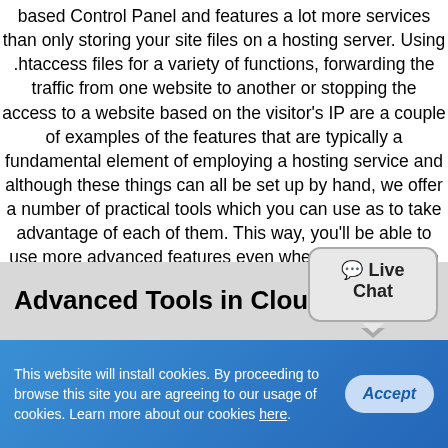based Control Panel and features a lot more services than only storing your site files on a hosting server. Using .htaccess files for a variety of functions, forwarding the traffic from one website to another or stopping the access to a website based on the visitor's IP are a couple of examples of the features that are typically a fundamental element of employing a hosting service and although these things can all be set up by hand, we offer a number of practical tools which you can use as to take advantage of each of them. This way, you'll be able to use more advanced features even when you don't have any practical experience and you shall be able to manage your Internet presence better and easier.
Advanced Tools in Cloud Hosting
[Figure (other): Live Chat speech bubble button]
This website will install cookies. By proceeding to browse this site you are agreeing to our usage of cookies. Learn more about our cookies here.